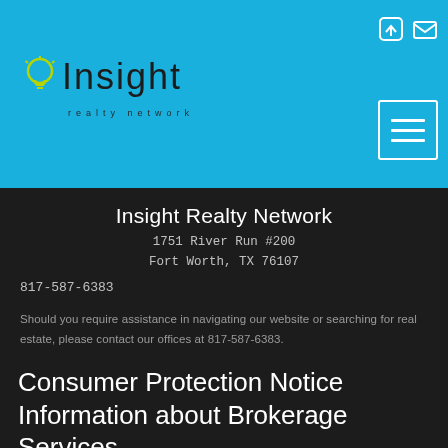Insight realty network
Insight Realty Network
1751 River Run #200
Fort Worth, TX 76107
817-587-6383
Should you require assistance in navigating our website or searching for real estate, please contact our offices at 817-587-6383.
Texas Real Estate Commission Consumer Protection Notice
Consumer Protection Notice Information about Brokerage Services